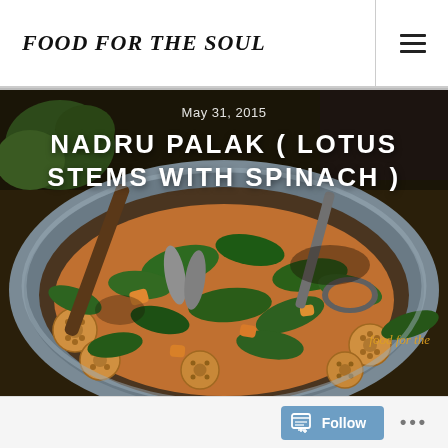FOOD FOR THE SOUL
[Figure (photo): A bowl of Nadru Palak (lotus stems with spinach) Indian dish, photographed from above, showing cross-sections of lotus stems mixed with spinach in a spiced curry, with metal serving tongs resting in the bowl.]
May 31, 2015
NADRU PALAK ( LOTUS STEMS WITH SPINACH )
Follow